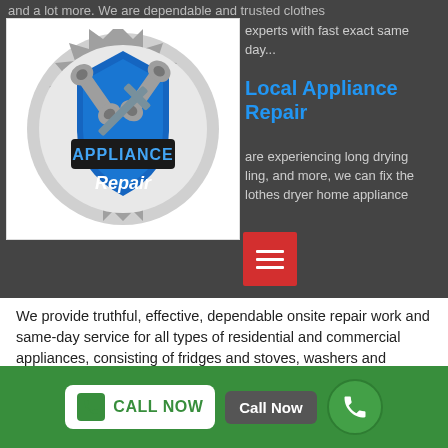and a lot more. We are dependable and trusted clothes experts with fast exact same day...
[Figure (logo): Appliance Repair logo with wrenches and gear, text 'APPLIANCE Repair']
Local Appliance Repair
are experiencing long drying, ling, and more, we can fix the lothes dryer home appliance
We provide truthful, effective, dependable onsite repair work and same-day service for all types of residential and commercial appliances, consisting of fridges and stoves, washers and dryers, heaters and a/c units.
Washing Machine Repairs In Oakleigh South
No matter how well you maintain it, there will likely come a time when you require washing machine repair work in
CALL NOW   Call Now